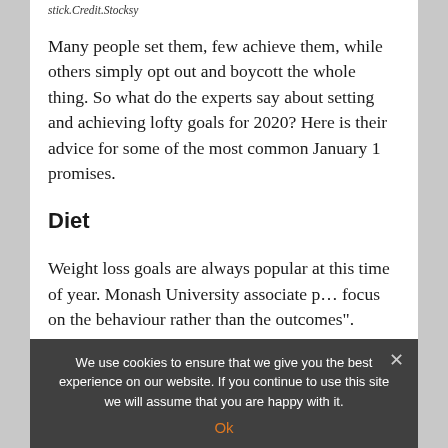stick.Credit.Stocksy
Many people set them, few achieve them, while others simply opt out and boycott the whole thing. So what do the experts say about setting and achieving lofty goals for 2020? Here is their advice for some of the most common January 1 promises.
Diet
Weight loss goals are always popular at this time of year. Monash University associate p... focus on the behaviour rather than the outcomes".
We use cookies to ensure that we give you the best experience on our website. If you continue to use this site we will assume that you are happy with it.